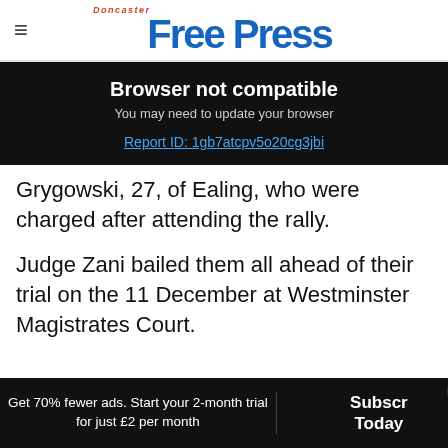Doncaster Free Press
Browser not compatible
You may need to update your browser
Report ID: 1gb7atcpv5o20cg3jbi
Grygowski, 27, of Ealing, who were charged after attending the rally.
Judge Zani bailed them all ahead of their trial on the 11 December at Westminster Magistrates Court.
Get 70% fewer ads. Start your 2-month trial for just £2 per month  Subscribe Today